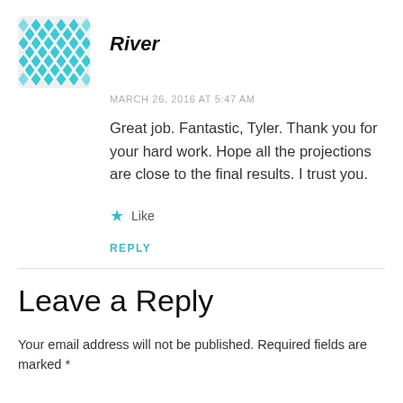[Figure (logo): Geometric diamond/rhombus pattern avatar icon in teal/cyan color]
River
MARCH 26, 2016 AT 5:47 AM
Great job. Fantastic, Tyler. Thank you for your hard work. Hope all the projections are close to the final results. I trust you.
★ Like
REPLY
Leave a Reply
Your email address will not be published. Required fields are marked *